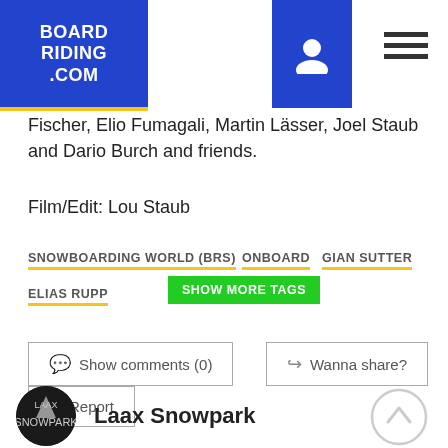BOARDRIDING.COM
Fischer, Elio Fumagali, Martin Lässer, Joel Staub and Dario Burch and friends.
Film/Edit: Lou Staub
SNOWBOARDING WORLD (BRS)
ONBOARD
GIAN SUTTER
ELIAS RUPP
SHOW MORE TAGS
Show comments (0)
Wanna share?
Report
Laax Snowpark